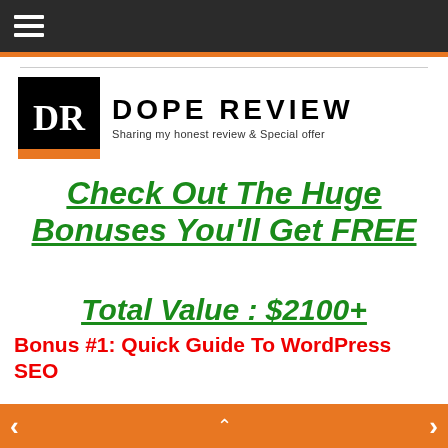DR DOPE REVIEW – Sharing my honest review & Special offer
Check Out The Huge Bonuses You'll Get FREE
Total Value : $2100+
Bonus #1: Quick Guide To WordPress SEO
[Figure (screenshot): Partial screenshot of a WordPress SEO quick guide product cover with 100% satisfaction badge]